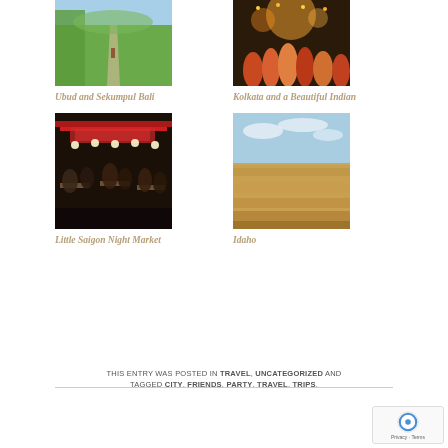[Figure (photo): Person walking along a narrow path through lush green rice fields in Bali]
Ubud and Sekumpul Bali
[Figure (photo): Colorful crowd at a festival or celebration in Kolkata, India with lights and traditional clothing]
Kolkata and a Beautiful Indian
[Figure (photo): Night market scene with people dining under bright lights at Little Saigon Night Market]
Little Saigon Night Market
[Figure (photo): Wide open dry grassland landscape in Idaho under a blue sky]
Idaho
THIS ENTRY WAS POSTED IN TRAVEL, UNCATEGORIZED AND TAGGED CITY, FRIENDS, PARTY, TRAVEL, TRIPS.